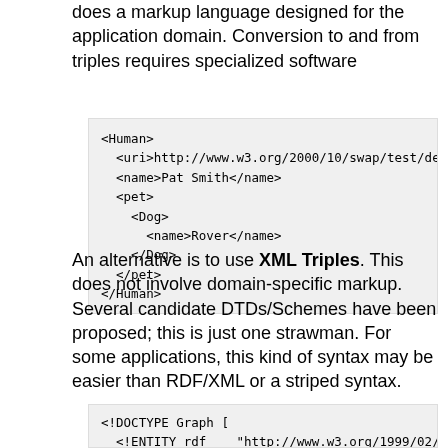does a markup language designed for the application domain. Conversion to and from triples requires specialized software
[Figure (screenshot): Code block showing XML markup for a Human element with uri, name, pet/Dog/name, and closing tags]
An alternative is to use XML Triples. This does not involve domain-specific markup. Several candidate DTDs/Schemes have been proposed; this is just one strawman. For some applications, this kind of syntax may be easier than RDF/XML or a striped syntax.
[Figure (screenshot): Code block showing DOCTYPE Graph declaration with ENTITY definitions for rdf, bio, ns1, per, followed by Graph and Triple opening tags]